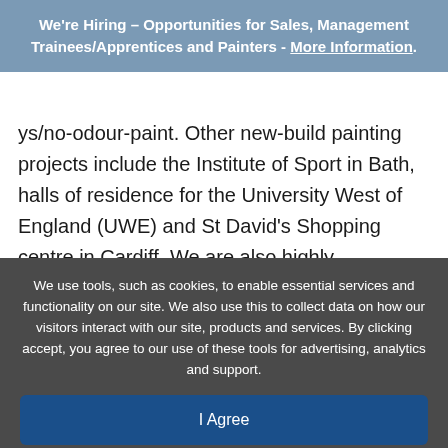We're Hiring – Opportunities for Sales, Management Trainees/Apprentices and Painters - More Information.
ys/no-odour-paint. Other new-build painting projects include the Institute of Sport in Bath, halls of residence for the University West of England (UWE) and St David's Shopping centre in Cardiff. We are also highly experienced at delivering maintenance painting in NHS environments and
We use tools, such as cookies, to enable essential services and functionality on our site. We also use this to collect data on how our visitors interact with our site, products and services. By clicking accept, you agree to our use of these tools for advertising, analytics and support.
I Agree
Terms & Conditions
Privacy Policy